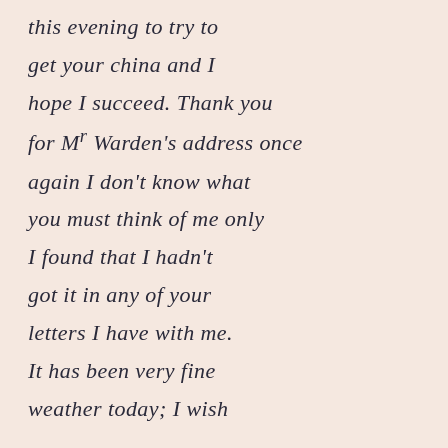this evening to try to get your china and I hope I succeed. Thank you for Mr Warden's address once again I don't know what you must think of me only I found that I hadn't got it in any of your letters I have with me. It has been very fine weather today; I wish